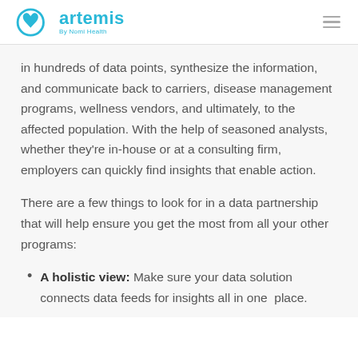artemis By Nomi Health
in hundreds of data points, synthesize the information, and communicate back to carriers, disease management programs, wellness vendors, and ultimately, to the affected population. With the help of seasoned analysts, whether they're in-house or at a consulting firm, employers can quickly find insights that enable action.
There are a few things to look for in a data partnership that will help ensure you get the most from all your other programs:
A holistic view: Make sure your data solution connects data feeds for insights all in one place.